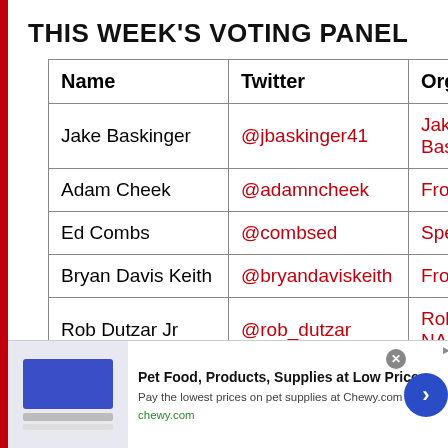THIS WEEK'S VOTING PANEL
| Name | Twitter | Organization |
| --- | --- | --- |
| Jake Baskinger | @jbaskinger41 | Jake Baskin… |
| Adam Cheek | @adamncheek | Frontstretc… |
| Ed Combs | @combsed | Speedway… |
| Bryan Davis Keith | @bryandaviskeith | Frontstretc… |
| Rob Dutzar Jr | @rob_dutzar | Rob's NAS… |
| Denise Gilli… | @b…fl…tt… | Blnck E… |
[Figure (screenshot): Advertisement banner for Chewy.com pet food and supplies]